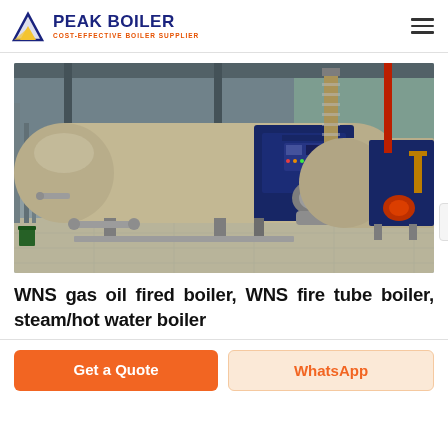PEAK BOILER — COST-EFFECTIVE BOILER SUPPLIER
[Figure (photo): Two industrial WNS gas oil fired fire tube boilers installed in a factory hall. The large horizontal cylindrical boilers are beige/tan colored with blue front panels and burner assemblies. Pipes and structural elements visible in the background.]
WNS gas oil fired boiler, WNS fire tube boiler, steam/hot water boiler
Get a Quote
WhatsApp